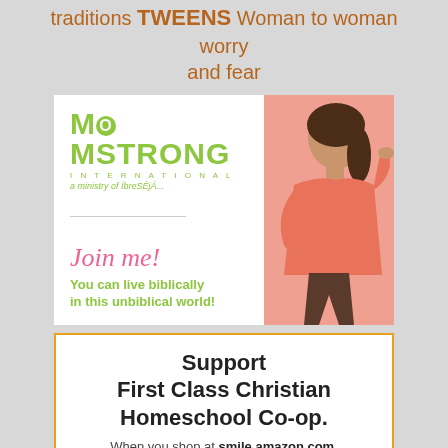traditions TWEENS Woman to woman worry and fear
[Figure (photo): MomStrong International advertisement featuring a woman in a coral/salmon colored top pointing, with text 'Join me! You can live biblically in this unbiblical world!']
Support First Class Christian Homeschool Co-op. When you shop at smile.amazon.com, Amazon donates.